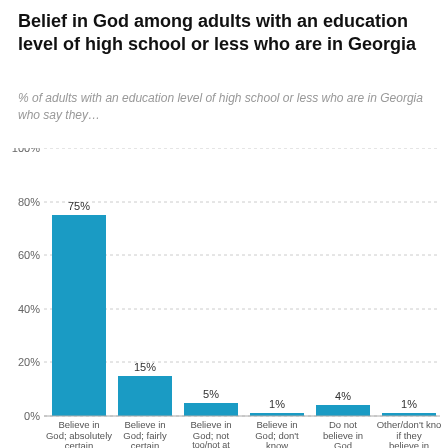Belief in God among adults with an education level of high school or less who are in Georgia
% of adults with an education level of high school or less who are in Georgia who say they…
[Figure (bar-chart): Belief in God among adults with an education level of high school or less who are in Georgia]